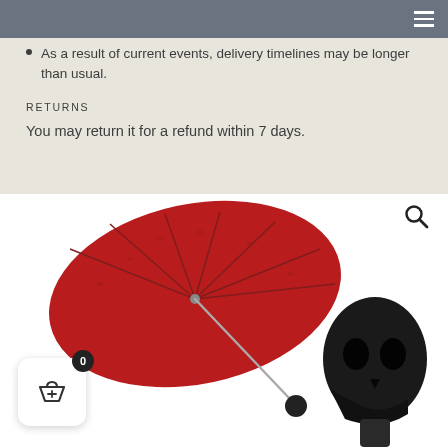As a result of current events, delivery timelines may be longer than usual.
RETURNS
You may return it for a refund within 7 days.
[Figure (photo): Red folding umbrella with skull-shaped handle and a black glossy skull head figurine on the right side, product image on white background.]